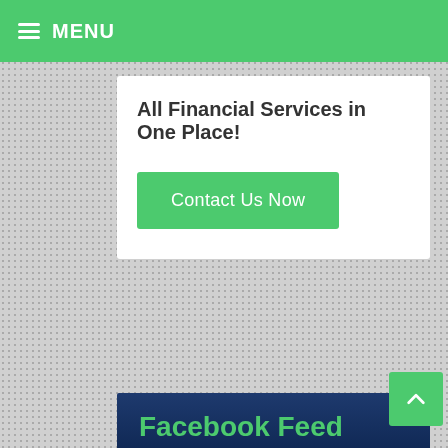MENU
All Financial Services in One Place!
Contact Us Now
Facebook Feed